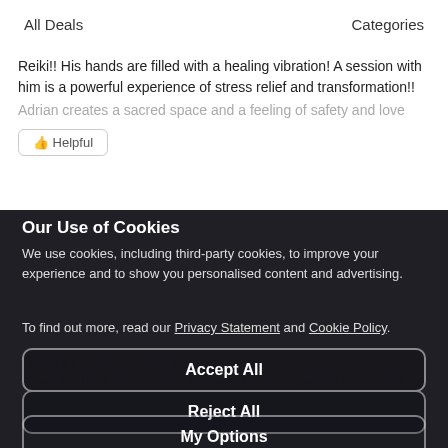All Deals    Categories
Reiki!! His hands are filled with a healing vibration! A session with him is a powerful experience of stress relief and transformation!!
Adrian creates a sacred space and a feeling of safety and love
Our Use of Cookies
We use cookies, including third-party cookies, to improve your experience and to show you personalised content and advertising.
To find out more, read our Privacy Statement and Cookie Policy.
What's included: Access Bars Therapy
Must be 16 or older. Under 16s must be accompanied by an adult.
Valid 7 days a week
Accept All
Reject All
My Options